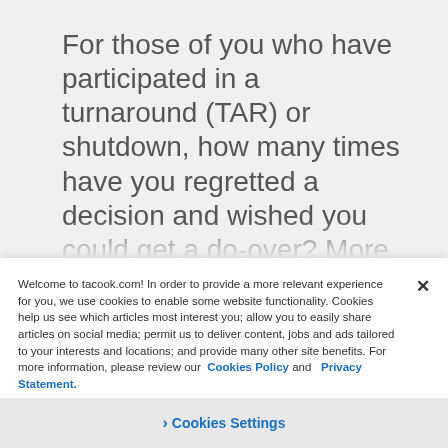For those of you who have participated in a turnaround (TAR) or shutdown, how many times have you regretted a decision and wished you could get a do-over? More often than not, the answer is too many to count. This is why T.A. Cook has created a proprietary...
Welcome to tacook.com! In order to provide a more relevant experience for you, we use cookies to enable some website functionality. Cookies help us see which articles most interest you; allow you to easily share articles on social media; permit us to deliver content, jobs and ads tailored to your interests and locations; and provide many other site benefits. For more information, please review our Cookies Policy and Privacy Statement.
❯ Cookies Settings